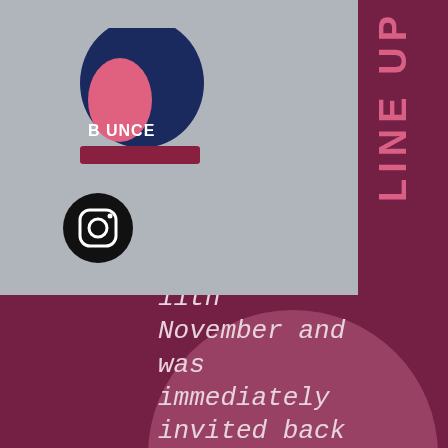[Figure (logo): BOUNCE festival logo - egg/figure shape in pink and dark blue on gray background]
[Figure (logo): Instagram icon - camera icon in black circle]
[Figure (infographic): Hamburger menu icon (three horizontal lines) on gray navigation bar]
al
r
LINE UP
11th November and was immediately invited back for this second edition.
EXPERIENCE
Join us at BOUNCE as 5 top artists play, together with beer garden and fully stocked bar at reasonable prices, with Asian and international food options.
Please support the festival and buy